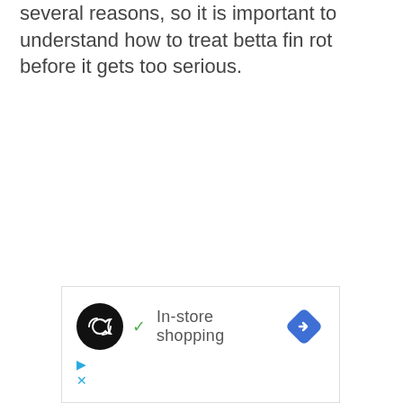several reasons, so it is important to understand how to treat betta fin rot before it gets too serious.
[Figure (other): Advertisement banner showing a black circular logo with infinity-like symbol, a green checkmark with 'In-store shopping' text, and a blue diamond-shaped navigation icon, plus small play and close icons at the bottom left.]